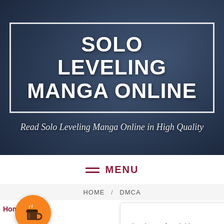[Figure (illustration): Hero banner with dark blue manga-themed background featuring an anime character, with white bordered box containing site title]
SOLO LEVELING MANGA ONLINE
Read Solo Leveling Manga Online in High Quality
≡ MENU
HOME / DMCA
Home » DMCA
[Figure (illustration): Orange circular coffee button with coffee cup icon]
Thank you for visiting. You can now buy me a coffee!